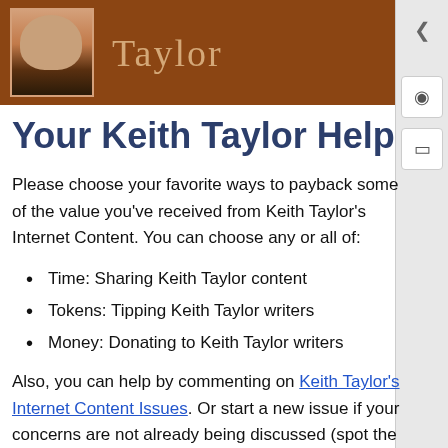[Figure (photo): Brown header banner with a person's photo on the left and the word 'Taylor' in serif gold/tan text on the right]
Your Keith Taylor Help
Please choose your favorite ways to payback some of the value you've received from Keith Taylor's Internet Content. You can choose any or all of:
Time: Sharing Keith Taylor content
Tokens: Tipping Keith Taylor writers
Money: Donating to Keith Taylor writers
Also, you can help by commenting on Keith Taylor's Internet Content Issues. Or start a new issue if your concerns are not already being discussed (spot the big green New Issue